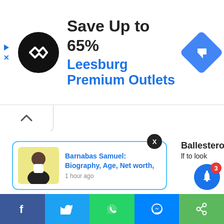[Figure (screenshot): Advertisement banner: black circular logo with double-arrow symbol, text 'Save Up to 65%' in bold dark, 'Leesburg Premium Outlets' in blue, blue diamond navigation icon on right, ad controls (play and X) on left edge]
[Figure (screenshot): Notification popup card with thumbnail photo of Barnabas Samuel, blue title text 'Barnabas Samuel: Biography, Age, Net worth,' and timestamp '1 hour ago'. Close X button above popup. Partial text 'Ballesteros' and 'lf to look' visible at right edge.]
[Figure (screenshot): Bottom social sharing bar with Facebook, Twitter, WhatsApp, Messenger, and green share buttons. Blue bell notification button with red badge showing '3' in bottom right corner.]